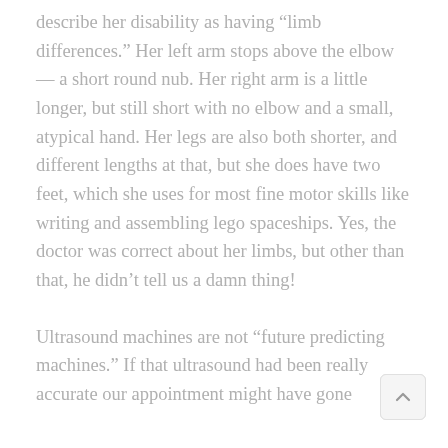describe her disability as having “limb differences.” Her left arm stops above the elbow — a short round nub. Her right arm is a little longer, but still short with no elbow and a small, atypical hand. Her legs are also both shorter, and different lengths at that, but she does have two feet, which she uses for most fine motor skills like writing and assembling lego spaceships. Yes, the doctor was correct about her limbs, but other than that, he didn’t tell us a damn thing!
Ultrasound machines are not “future predicting machines.” If that ultrasound had been really accurate our appointment might have gone